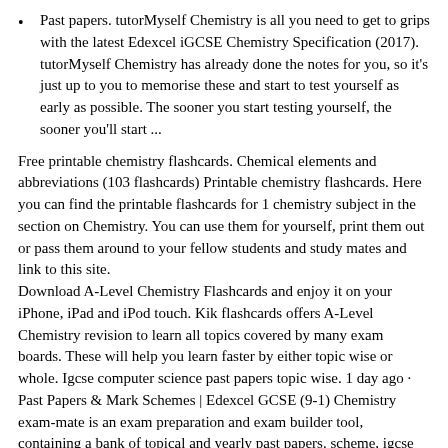Past papers. tutorMyself Chemistry is all you need to get to grips with the latest Edexcel iGCSE Chemistry Specification (2017). tutorMyself Chemistry has already done the notes for you, so it's just up to you to memorise these and start to test yourself as early as possible. The sooner you start testing yourself, the sooner you'll start ...
Free printable chemistry flashcards. Chemical elements and abbreviations (103 flashcards) Printable chemistry flashcards. Here you can find the printable flashcards for 1 chemistry subject in the section on Chemistry. You can use them for yourself, print them out or pass them around to your fellow students and study mates and link to this site.
Download A-Level Chemistry Flashcards and enjoy it on your iPhone, iPad and iPod touch. Kik flashcards offers A-Level Chemistry revision to learn all topics covered by many exam boards. These will help you learn faster by either topic wise or whole. Igcse computer science past papers topic wise. 1 day ago · Past Papers & Mark Schemes | Edexcel GCSE (9-1) Chemistry exam-mate is an exam preparation and exam builder tool, containing a bank of topical and yearly past papers. scheme, igcse mathematics 0580 june 2016 past exam papers mark scheme, igcse chemistry 4335 2h mark scheme rgs infonet ....
Chemistry Ch. 25 Master Books. Term. Definition. alkanes. hydrocarbons with single covalent bonds between the carbon